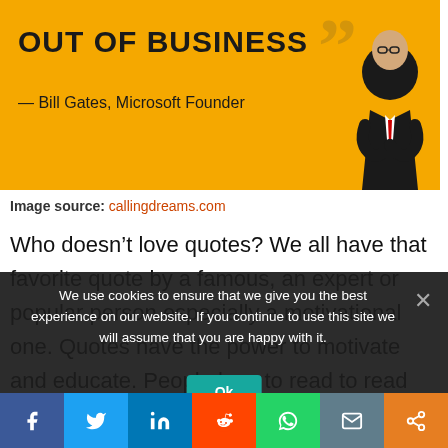[Figure (photo): Yellow/orange banner with Bill Gates quote 'OUT OF BUSINESS' with closing quotation mark graphic and silhouette of a businessman in suit with arms crossed on the right side]
Image source: callingdreams.com
Who doesn't love quotes? We all have that favorite quote by a famous, an expert or popular person especially a motivational one. Quotes have the power to motivate and educate. People love to read to read them. Quotes get a lot of likes and shares when
We use cookies to ensure that we give you the best experience on our website. If you continue to use this site we will assume that you are happy with it.